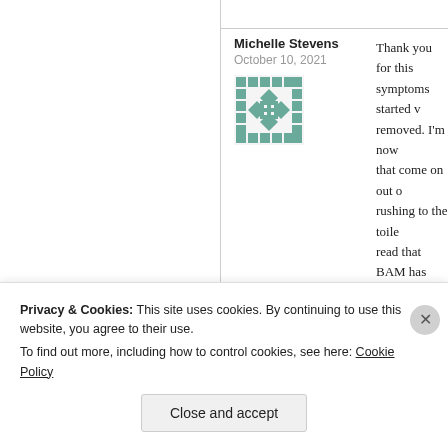Michelle Stevens
October 10, 2021
[Figure (illustration): Decorative quilt-pattern avatar in teal/green geometric design]
Thank you for this symptoms started v removed. I'm now that come on out o rushing to the toile read that BAM has cholecystectomy, b off. What do we ne information out int
★ Like
Reply
Privacy & Cookies: This site uses cookies. By continuing to use this website, you agree to their use.
To find out more, including how to control cookies, see here: Cookie Policy
Close and accept